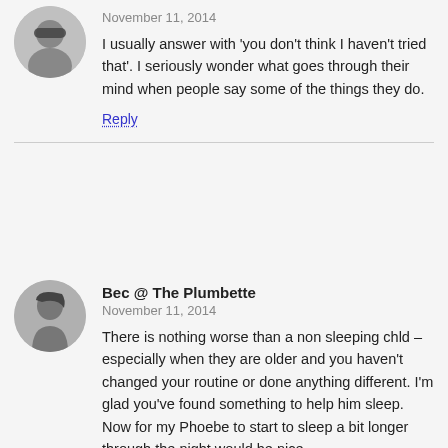[Figure (photo): Circular avatar photo of a person wearing sunglasses, black and white, partially cropped at top]
I usually answer with 'you don't think I haven't tried that'. I seriously wonder what goes through their mind when people say some of the things they do.
Reply
[Figure (photo): Circular avatar photo of Bec, woman with dark hair, black and white]
Bec @ The Plumbette
November 11, 2014
There is nothing worse than a non sleeping chld – especially when they are older and you haven't changed your routine or done anything different. I'm glad you've found something to help him sleep. Now for my Phoebe to start to sleep a bit longer through the night would be nice....
Reply
[Figure (photo): Circular avatar photo of Tegan, person wearing sunglasses, black and white]
Tegan
November 14, 2014
I think that is what I struggled with the most, that he had been a perfect sleeper before and then, regardless of what I did, he just didn't want to sleep. I hope that Phoebe starts sleeping through for you.